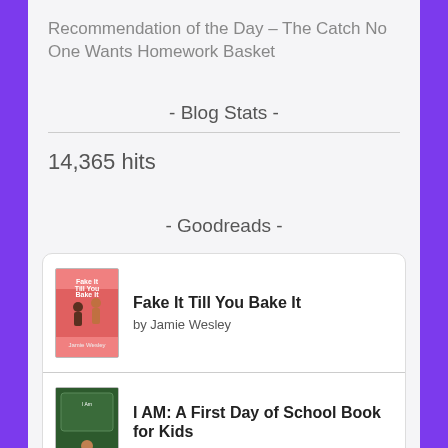Recommendation of the Day – The Catch No One Wants Homework Basket
- Blog Stats -
14,365 hits
- Goodreads -
[Figure (illustration): Goodreads widget showing two book entries: 'Fake It Till You Bake It' by Jamie Wesley and 'I AM: A First Day of School Book for Kids' by Sonica Ellis, each with a book cover image.]